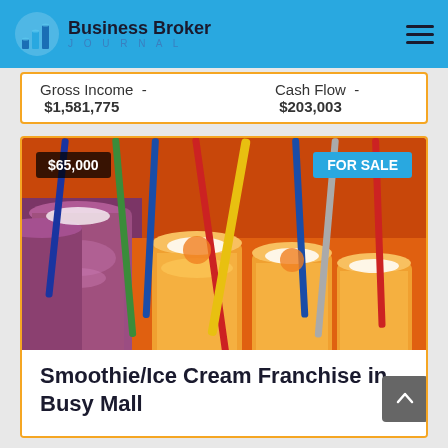Business Broker JOURNAL
Gross Income - $1,581,775    Cash Flow - $203,003
[Figure (photo): Colorful smoothie and juice drinks in clear plastic cups with colorful straws, displayed on an orange surface]
Smoothie/Ice Cream Franchise in Busy Mall